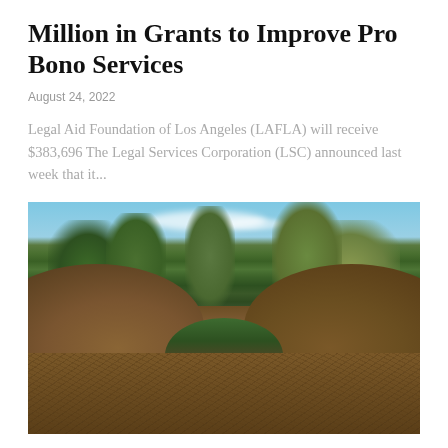Million in Grants to Improve Pro Bono Services
August 24, 2022
Legal Aid Foundation of Los Angeles (LAFLA) will receive $383,696 The Legal Services Corporation (LSC) announced last week that it...
[Figure (photo): Outdoor photograph showing large mounds of wood chips or mulch in the foreground, with trees and blue sky with scattered clouds in the background.]